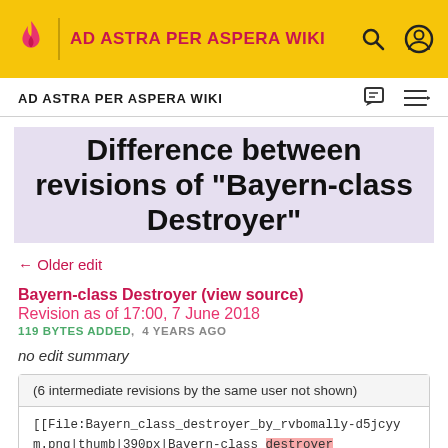AD ASTRA PER ASPERA WIKI
AD ASTRA PER ASPERA WIKI
Difference between revisions of "Bayern-class Destroyer"
← Older edit
Bayern-class Destroyer (view source)
Revision as of 17:00, 7 June 2018
119 BYTES ADDED,  4 YEARS AGO
no edit summary
(6 intermediate revisions by the same user not shown)
[[File:Bayern_class_destroyer_by_rvbomally-d5jcyym.png|thumb|390px|Bayern-class destroyer